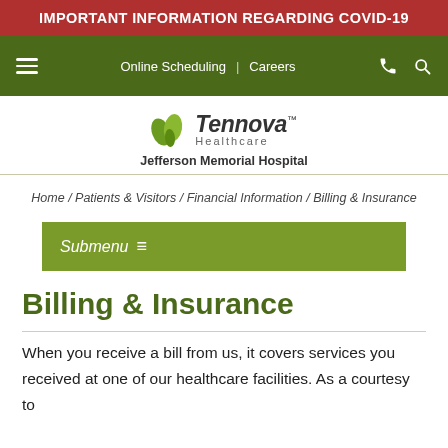IMPORTANT INFORMATION REGARDING COVID-19
Online Scheduling | Careers
[Figure (logo): Tennova Healthcare Jefferson Memorial Hospital logo with green leaf graphic]
Home / Patients & Visitors / Financial Information / Billing & Insurance
Submenu ≡
Billing & Insurance
When you receive a bill from us, it covers services you received at one of our healthcare facilities. As a courtesy to